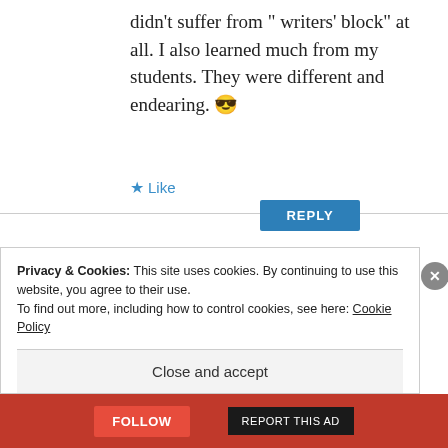didn't suffer from " writers' block" at all. I also learned much from my students. They were different and endearing. 😎
★ Like
REPLY
[Figure (photo): Circular avatar photo of Linda Mims, a woman smiling]
Linda Mims
AUGUST 28, 2016 AT 13:52
Privacy & Cookies: This site uses cookies. By continuing to use this website, you agree to their use.
To find out more, including how to control cookies, see here: Cookie Policy
Close and accept